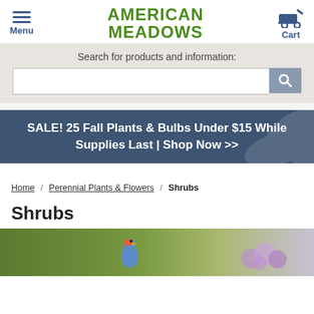Menu | AMERICAN MEADOWS | Cart
Search for products and information:
SALE! 25 Fall Plants & Bulbs Under $15 While Supplies Last | Shop Now >>
Home / Perennial Plants & Flowers / Shrubs
Shrubs
[Figure (photo): A bluebird perched near lilac flowers, used as hero image for the Shrubs category page]